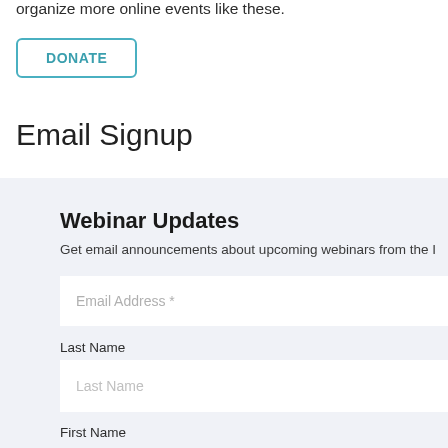organize more online events like these.
DONATE
Email Signup
Webinar Updates
Get email announcements about upcoming webinars from the I
Email Address *
Last Name
Last Name
First Name